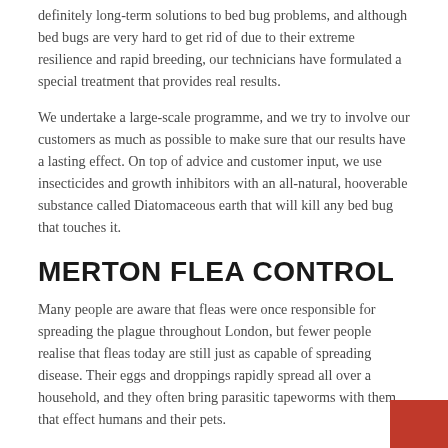definitely long-term solutions to bed bug problems, and although bed bugs are very hard to get rid of due to their extreme resilience and rapid breeding, our technicians have formulated a special treatment that provides real results.
We undertake a large-scale programme, and we try to involve our customers as much as possible to make sure that our results have a lasting effect. On top of advice and customer input, we use insecticides and growth inhibitors with an all-natural, hooverable substance called Diatomaceous earth that will kill any bed bug that touches it.
MERTON FLEA CONTROL
Many people are aware that fleas were once responsible for spreading the plague throughout London, but fewer people realise that fleas today are still just as capable of spreading disease. Their eggs and droppings rapidly spread all over a household, and they often bring parasitic tapeworms with them that effect humans and their pets.
As with bed bugs, fleas can only be thoroughly exterminated with co-operation between customers and technicians, and we aim to